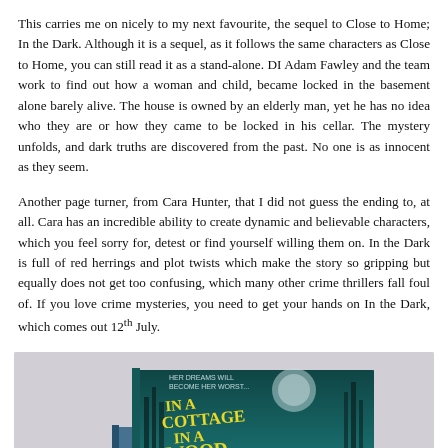This carries me on nicely to my next favourite, the sequel to Close to Home; In the Dark. Although it is a sequel, as it follows the same characters as Close to Home, you can still read it as a stand-alone. DI Adam Fawley and the team work to find out how a woman and child, became locked in the basement alone barely alive. The house is owned by an elderly man, yet he has no idea who they are or how they came to be locked in his cellar. The mystery unfolds, and dark truths are discovered from the past. No one is as innocent as they seem.
Another page turner, from Cara Hunter, that I did not guess the ending to, at all. Cara has an incredible ability to create dynamic and believable characters, which you feel sorry for, detest or find yourself willing them on. In the Dark is full of red herrings and plot twists which make the story so gripping but equally does not get too confusing, which many other crime thrillers fall foul of. If you love crime mysteries, you need to get your hands on In the Dark, which comes out 12th July.
[Figure (photo): Photo of a stack of books, with the topmost book titled 'In a Cottage in a Wood' featuring a teal/dark cover with large yellow text. Other books partially visible underneath including one with 'CA' visible on spine.]